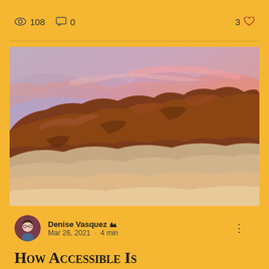108  0  3
[Figure (photo): Dramatic desert landscape with red rock formations under a vivid pink and purple sunset sky]
Denise Vasquez  Mar 26, 2021 · 4 min
How Accessible Is Accessible: The Valley